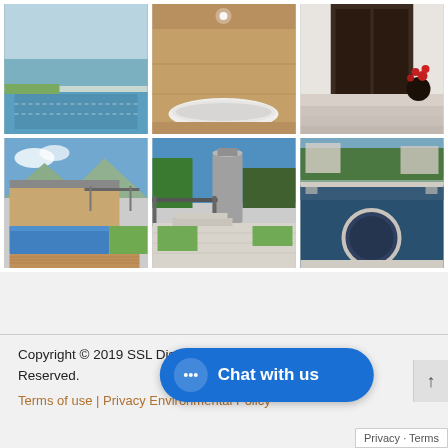[Figure (photo): Grid of 6 photos showing pool, bathroom, entrance steps, house with pool, courtyard, and pool with spa]
Copyright © 2019 SSL Distributors by HCP. All Rights Reserved.
Terms of use | Privacy Environmental Policy